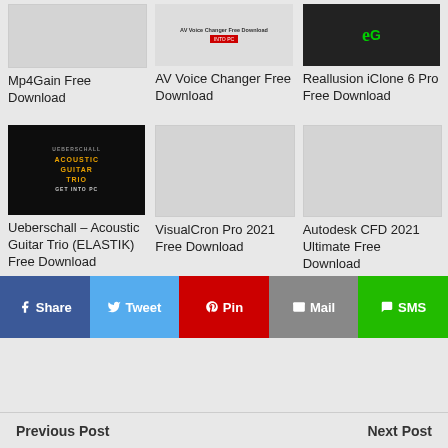[Figure (screenshot): Mp4Gain product thumbnail - light gray placeholder]
Mp4Gain Free Download
[Figure (screenshot): AV Voice Changer thumbnail with text overlay]
AV Voice Changer Free Download
[Figure (screenshot): Reallusion iClone 6 Pro thumbnail with green logo]
Reallusion iClone 6 Pro Free Download
[Figure (photo): Ueberschall Acoustic Guitar Trio (ELASTIK) dark album art]
Ueberschall – Acoustic Guitar Trio (ELASTIK) Free Download
[Figure (screenshot): VisualCron Pro 2021 placeholder thumbnail]
VisualCron Pro 2021 Free Download
[Figure (screenshot): Autodesk CFD 2021 placeholder thumbnail]
Autodesk CFD 2021 Ultimate Free Download
Share
Tweet
Pin
Mail
SMS
Previous Post
Next Post